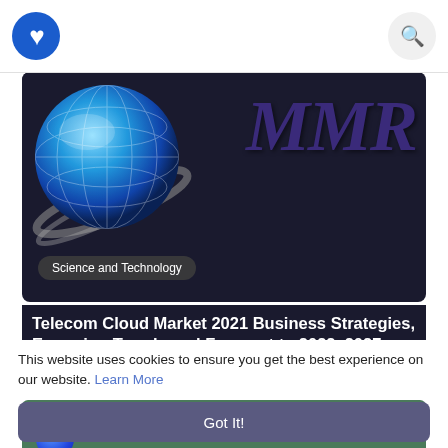F [logo] [search icon]
[Figure (screenshot): MMR market research website banner with globe graphic on left and large italic MMR text on dark background, with Science and Technology badge overlay]
Telecom Cloud Market 2021 Business Strategies, Emerging Trends and Forecast to 2022–2027
12 Jan 2022
[Figure (screenshot): Partial green background image with blue circular element visible at bottom left]
This website uses cookies to ensure you get the best experience on our website. Learn More
Got It!